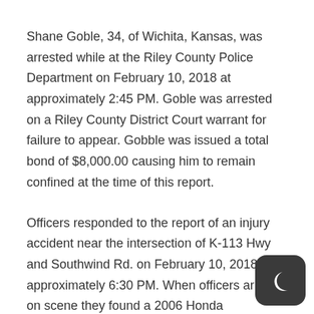Shane Goble, 34, of Wichita, Kansas, was arrested while at the Riley County Police Department on February 10, 2018 at approximately 2:45 PM. Goble was arrested on a Riley County District Court warrant for failure to appear. Gobble was issued a total bond of $8,000.00 causing him to remain confined at the time of this report.
Officers responded to the report of an injury accident near the intersection of K-113 Hwy and Southwind Rd. on February 10, 2018 at approximately 6:30 PM. When officers arrived on scene they found a 2006 Honda Motorcycle driven by Christopher Harnage, 34, of Manhattan had struck a 2009 Chevy Malibu driven by Madison Marker, 16, of Olsburg, Kansas. Harnage was transported to Stormont Vail for treatment of his injuries.